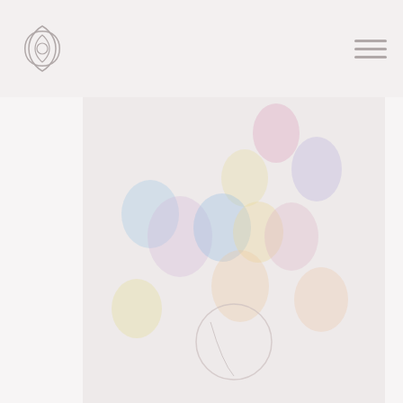Willowdale Crossing
[Figure (photo): Decorative Easter egg hunt photo with colorful pastel egg bokeh lights on a light background and a circular ring element in the center]
Willowdale Crossing: If you are looking for a way to spend Easter as safely as possible this year, then head over to the Drive Through Egg Hunt! This Drive Through event is all the fun of a traditional egg hunt!
Drive Through Egg Hunt in Frederick, MD·
Drive through and get treats, get a photo...